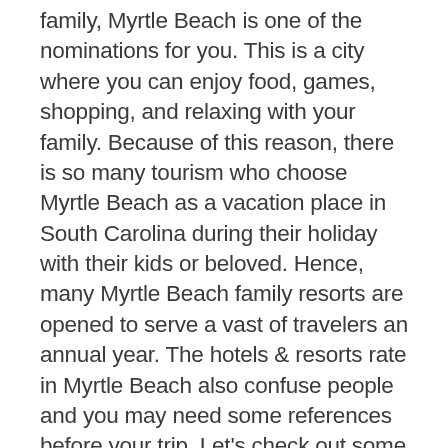family, Myrtle Beach is one of the nominations for you. This is a city where you can enjoy food, games, shopping, and relaxing with your family. Because of this reason, there is so many tourism who choose Myrtle Beach as a vacation place in South Carolina during their holiday with their kids or beloved. Hence, many Myrtle Beach family resorts are opened to serve a vast of travelers an annual year. The hotels & resorts rate in Myrtle Beach also confuse people and you may need some references before your trip. Let's check out some tips that may help you prepare your trip better!
What is the best place to stay in Myrtle